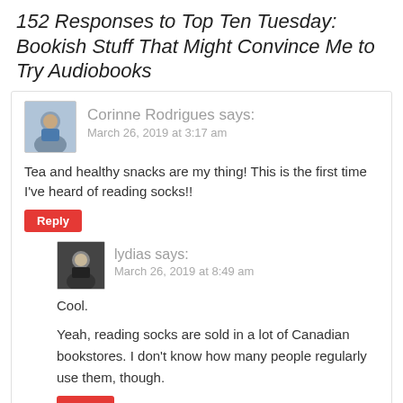152 Responses to Top Ten Tuesday: Bookish Stuff That Might Convince Me to Try Audiobooks
Corinne Rodrigues says:
March 26, 2019 at 3:17 am

Tea and healthy snacks are my thing! This is the first time I've heard of reading socks!!
lydias says:
March 26, 2019 at 8:49 am

Cool.

Yeah, reading socks are sold in a lot of Canadian bookstores. I don't know how many people regularly use them, though.